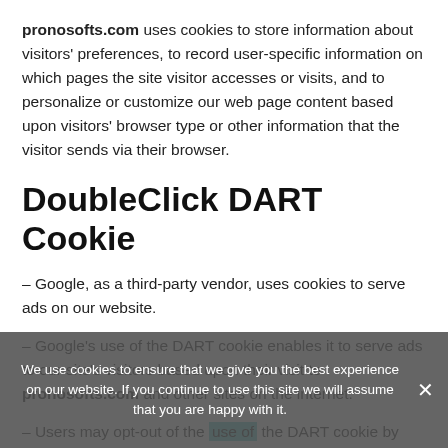pronosofts.com uses cookies to store information about visitors' preferences, to record user-specific information on which pages the site visitor accesses or visits, and to personalize or customize our web page content based upon visitors' browser type or other information that the visitor sends via their browser.
DoubleClick DART Cookie
– Google, as a third-party vendor, uses cookies to serve ads on our website.
– Google's use of the DART cookie enables it to serve ads to our site's visitors based upon their visit to pronosofts.com and other sites on the internet.
– Users may opt-out of the use of the DART cookie by visiting the Google ad and content network privacy policy at the
We use cookies to ensure that we give you the best experience on our website. If you continue to use this site we will assume that you are happy with it.